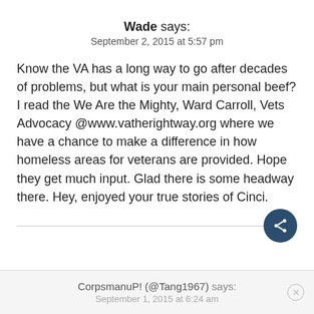Wade says:
September 2, 2015 at 5:57 pm
Know the VA has a long way to go after decades of problems, but what is your main personal beef? I read the We Are the Mighty, Ward Carroll, Vets Advocacy @www.vatherightway.org where we have a chance to make a difference in how homeless areas for veterans are provided. Hope they get much input. Glad there is some headway there. Hey, enjoyed your true stories of Cinci.
CorpsmanuP! (@Tang1967) says:
September 1, 2015 at 6:24 am